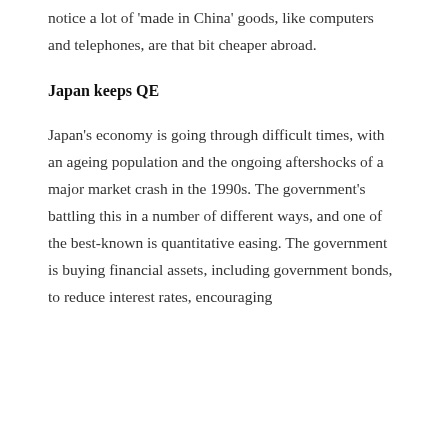notice a lot of 'made in China' goods, like computers and telephones, are that bit cheaper abroad.
Japan keeps QE
Japan's economy is going through difficult times, with an ageing population and the ongoing aftershocks of a major market crash in the 1990s. The government's battling this in a number of different ways, and one of the best-known is quantitative easing. The government is buying financial assets, including government bonds, to reduce interest rates, encouraging